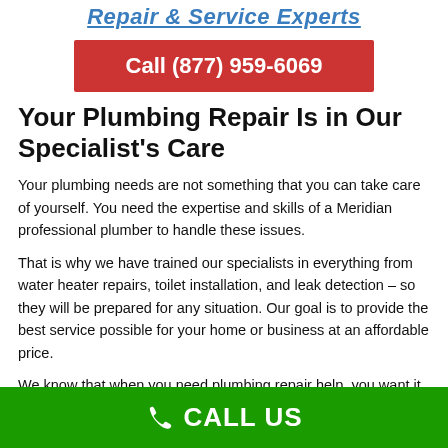Repair & Service Experts
Call (877) 959-6069
Your Plumbing Repair Is in Our Specialist’s Care
Your plumbing needs are not something that you can take care of yourself. You need the expertise and skills of a Meridian professional plumber to handle these issues.
That is why we have trained our specialists in everything from water heater repairs, toilet installation, and leak detection – so they will be prepared for any situation. Our goal is to provide the best service possible for your home or business at an affordable price.
We know that when you need plumbing repair help, you want it as soon as possible and with the least amount of headaches. That’s
CALL US